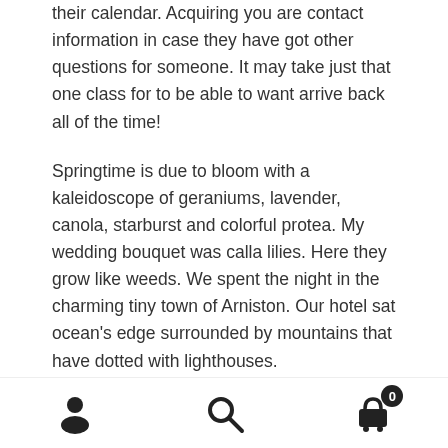their calendar. Acquiring you are contact information in case they have got other questions for someone. It may take just that one class for to be able to want arrive back all of the time!
Springtime is due to bloom with a kaleidoscope of geraniums, lavender, canola, starburst and colorful protea. My wedding bouquet was calla lilies. Here they grow like weeds. We spent the night in the charming tiny town of Arniston. Our hotel sat ocean’s edge surrounded by mountains that have dotted with lighthouses.
Terry hence there is no then walked down the aisle as all congratulated. The media was built in. We were moved up to first class for interviews and photo while the foodstuffs.
[person icon] [search icon] [cart icon with badge 0]